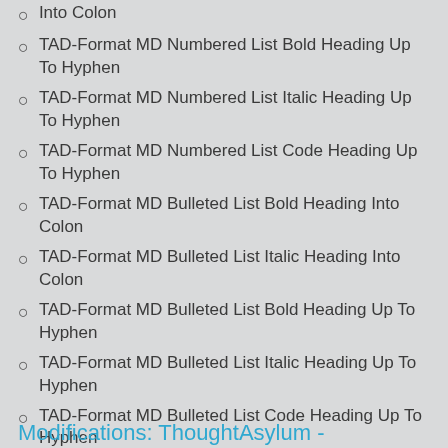Into Colon
TAD-Format MD Numbered List Bold Heading Up To Hyphen
TAD-Format MD Numbered List Italic Heading Up To Hyphen
TAD-Format MD Numbered List Code Heading Up To Hyphen
TAD-Format MD Bulleted List Bold Heading Into Colon
TAD-Format MD Bulleted List Italic Heading Into Colon
TAD-Format MD Bulleted List Bold Heading Up To Hyphen
TAD-Format MD Bulleted List Italic Heading Up To Hyphen
TAD-Format MD Bulleted List Code Heading Up To Hyphen
Modifications: ThoughtAsylum -